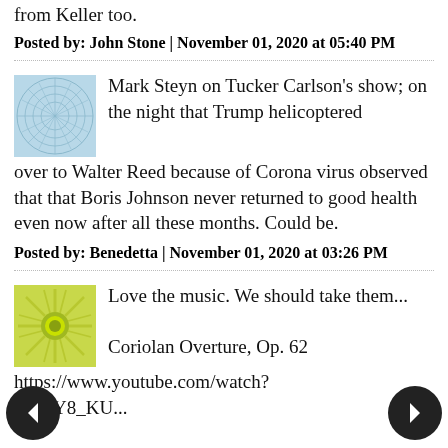from Keller too.
Posted by: John Stone | November 01, 2020 at 05:40 PM
Mark Steyn on Tucker Carlson's show; on the night that Trump helicoptered over to Walter Reed because of Corona virus observed that that Boris Johnson never returned to good health even now after all these months. Could be.
Posted by: Benedetta | November 01, 2020 at 03:26 PM
Love the music. We should take them...
Coriolan Overture, Op. 62
https://www.youtube.com/watch?
[Figure (other): Left navigation arrow button (dark circle with white left arrow)]
[Figure (other): Right navigation arrow button (dark circle with white right arrow)]